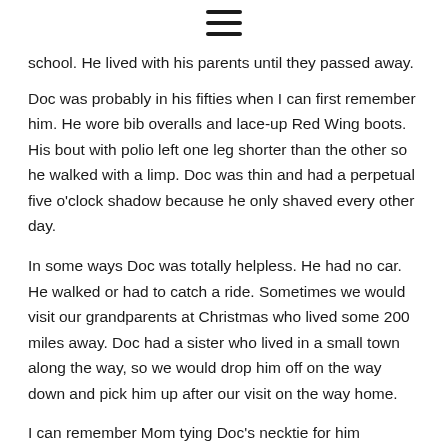[Figure (other): Hamburger menu icon (three horizontal lines)]
school. He lived with his parents until they passed away.
Doc was probably in his fifties when I can first remember him. He wore bib overalls and lace-up Red Wing boots. His bout with polio left one leg shorter than the other so he walked with a limp. Doc was thin and had a perpetual five o'clock shadow because he only shaved every other day.
In some ways Doc was totally helpless. He had no car. He walked or had to catch a ride. Sometimes we would visit our grandparents at Christmas who lived some 200 miles away. Doc had a sister who lived in a small town along the way, so we would drop him off on the way down and pick him up after our visit on the way home.
I can remember Mom tying Doc's necktie for him because he didn't know how. She taught Doc how to write his own name. He spent